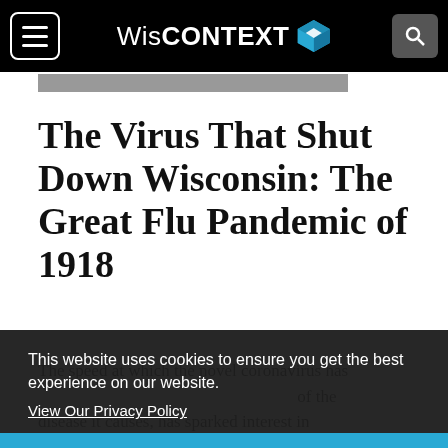WisCONTEXT
[Figure (photo): Partial view of a historical black and white photograph at the top of the article]
The Virus That Shut Down Wisconsin: The Great Flu Pandemic of 1918
This website uses cookies to ensure you get the best experience on our website.
View Our Privacy Policy
Got it!
The speed at which the novel coronavirus has ... of the disease it causes, has sparked interest in humanity's last experience with a contagion of